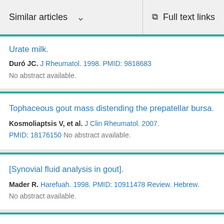Similar articles   Full text links
Urate milk.
Duró JC. J Rheumatol. 1998. PMID: 9818683
No abstract available.
Tophaceous gout mass distending the prepatellar bursa.
Kosmoliaptsis V, et al. J Clin Rheumatol. 2007.
PMID: 18176150 No abstract available.
[Synovial fluid analysis in gout].
Mader R. Harefuah. 1998. PMID: 10911478 Review. Hebrew.
No abstract available.
...